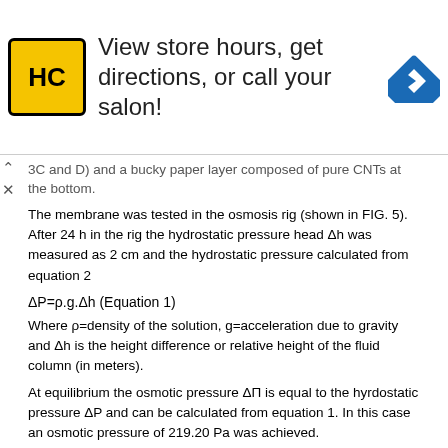[Figure (other): Advertisement banner for HC salon with logo and navigation icon]
3C and D) and a bucky paper layer composed of pure CNTs at the bottom.
The membrane was tested in the osmosis rig (shown in FIG. 5). After 24 h in the rig the hydrostatic pressure head Δh was measured as 2 cm and the hydrostatic pressure calculated from equation 2
Where ρ=density of the solution, g=acceleration due to gravity and Δh is the height difference or relative height of the fluid column (in meters).
At equilibrium the osmotic pressure ΔΠ is equal to the hyrdostatic pressure ΔP and can be calculated from equation 1. In this case an osmotic pressure of 219.20 Pa was achieved.
The efficiency of the membrane was calculated from equation 2